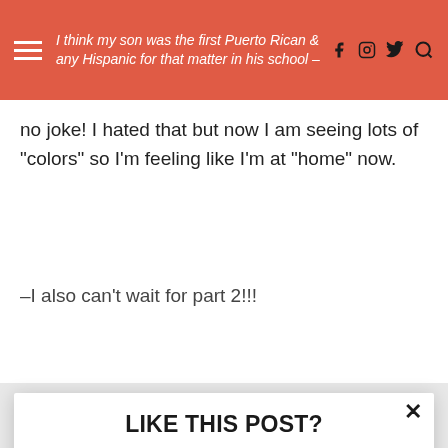I think my son was the first Puerto Rican (or any Hispanic) for that matter in his school – no joke! I hated that but now I am seeing lots of "colors" so I'm feeling like I'm at "home" now.
no joke! I hated that but now I am seeing lots of "colors" so I'm feeling like I'm at "home" now.
–I also can't wait for part 2!!!
LIKE THIS POST?
Subscribe to get more like it directly in your inbox.
Enter your email
Subscribe
powered by MailMunch